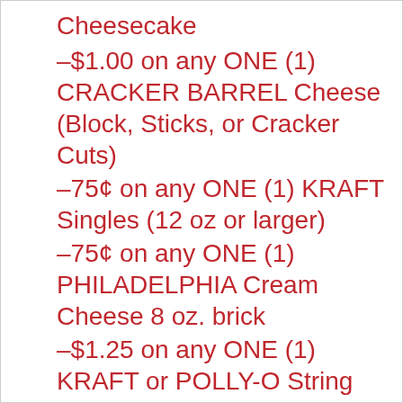Cheesecake
–$1.00 on any ONE (1) CRACKER BARREL Cheese (Block, Sticks, or Cracker Cuts)
–75¢ on any ONE (1) KRAFT Singles (12 oz or larger)
–75¢ on any ONE (1) PHILADELPHIA Cream Cheese 8 oz. brick
–$1.25 on any ONE (1) KRAFT or POLLY-O String Cheese (12 ct. or larger)